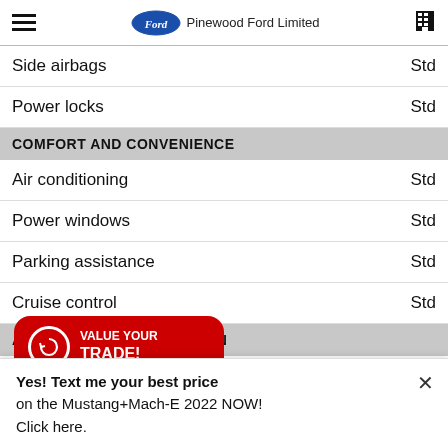Pinewood Ford Limited
Side airbags — Std
Power locks — Std
COMFORT AND CONVENIENCE
Air conditioning — Std
Power windows — Std
Parking assistance — Std
Cruise control — Std
AUDIO AND COMMUNICATION
ors In The Front. Fixed Antenna. Radio k, Steering Wheel Controls and Radio D... AM/FM Stereo -inc: 6 speakers, MP3 capability and speed-compensated volume. Real-Time Traffic Display. SiriusXM Radio w/360L -inc: super...
Yes! Text me your best price on the Mustang+Mach-E 2022 NOW! Click here.